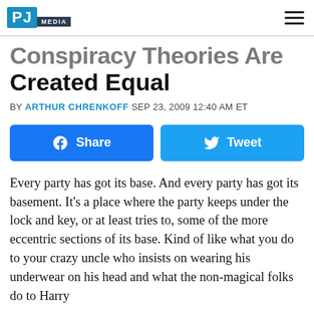PJ MEDIA
Conspiracy Theories Are Created Equal
BY ARTHUR CHRENKOFF SEP 23, 2009 12:40 AM ET
[Figure (other): Facebook Share button and Twitter Tweet button]
Every party has got its base. And every party has got its basement. It's a place where the party keeps under the lock and key, or at least tries to, some of the more eccentric sections of its base. Kind of like what you do to your crazy uncle who insists on wearing his underwear on his head and what the non-magical folks do to Harry